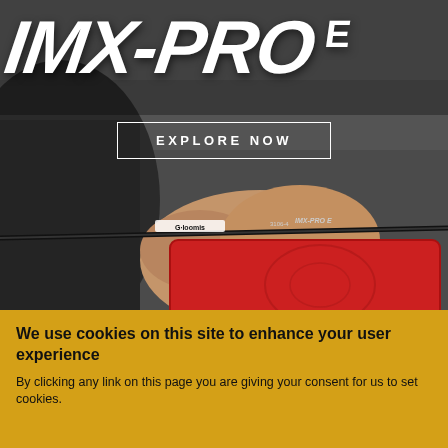[Figure (photo): Person holding a G. Loomis IMX-PRO E fishing rod and a red tackle box, dark rainy background. Text overlay: IMX-PRO E logo in large white italic bold font, and an 'EXPLORE NOW' button with white border.]
IMX-PRO E
EXPLORE NOW
We use cookies on this site to enhance your user experience
By clicking any link on this page you are giving your consent for us to set cookies.